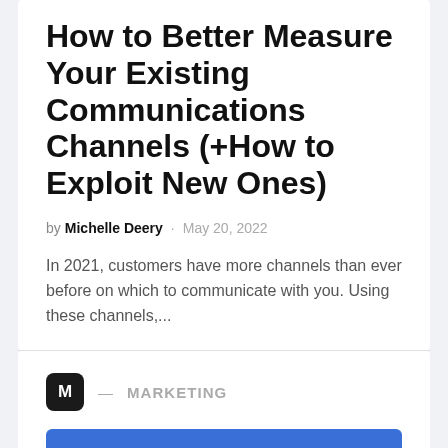How to Better Measure Your Existing Communications Channels (+How to Exploit New Ones)
by Michelle Deery · May 20, 2022
In 2021, customers have more channels than ever before on which to communicate with you. Using these channels,...
M — MARKETING